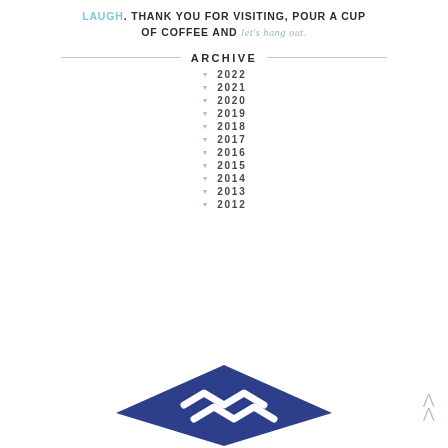LAUGH. THANK YOU FOR VISITING, POUR A CUP OF COFFEE AND let's hang out.
ARCHIVE
2022
2021
2020
2019
2018
2017
2016
2015
2014
2013
2012
[Figure (logo): Dark blue diamond/shield shaped logo with white angular arrow/chevron marks in the center]